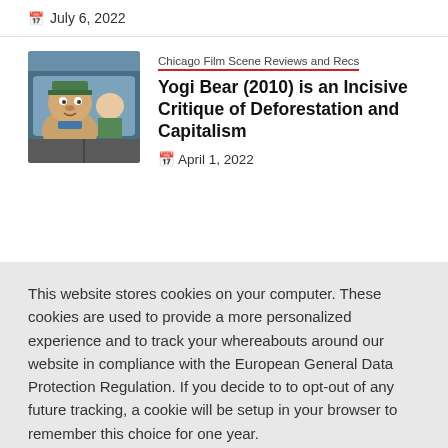July 6, 2022
Chicago Film Scene Reviews and Recs
Yogi Bear (2010) is an Incisive Critique of Deforestation and Capitalism
April 1, 2022
This website stores cookies on your computer. These cookies are used to provide a more personalized experience and to track your whereabouts around our website in compliance with the European General Data Protection Regulation. If you decide to to opt-out of any future tracking, a cookie will be setup in your browser to remember this choice for one year.
Accept or Deny